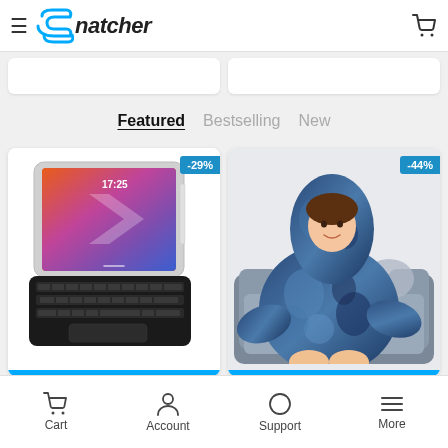Snatcher
Featured   Bestselling   New
[Figure (screenshot): Product card showing iPad with keyboard case, -29% discount badge]
[Figure (screenshot): Product card showing person wearing blue tie-dye hoodie blanket, -44% discount badge]
Cart   Account   Support   More